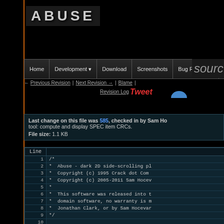[Figure (screenshot): ABUSE game website header with dark background and logo]
ABUSE
Home | Development | Download | Screenshots | Bug Reports | source
← Previous Revision | Next Revision → | Blame | Revision Log
Tweet
Last change on this file was 585, checked in by Sam Ho... tool: compute and display SPEC item CRCs.
File size: 1.1 KB
| Line |  |
| --- | --- |
| 1 | /* |
| 2 |  *  Abuse - dark 2D side-scrolling pl |
| 3 |  *  Copyright (c) 1995 Crack dot Com |
| 4 |  *  Copyright (c) 2005-2011 Sam Hocev |
| 5 |  * |
| 6 |  *  This software was released into t |
| 7 |  *  domain software, no warranty is m |
| 8 |  *  Jonathan Clark, or by Sam Hocevar |
| 9 |  */ |
| 10 |  |
| 11 | #if  defined HAVE_CONFIG_H |
| 12 | #   include "config.h" |